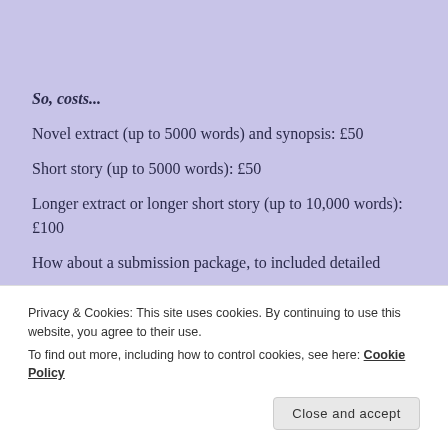So, costs...
Novel extract (up to 5000 words) and synopsis: £50
Short story (up to 5000 words): £50
Longer extract or longer short story (up to 10,000 words): £100
How about a submission package, to included detailed
Privacy & Cookies: This site uses cookies. By continuing to use this website, you agree to their use.
To find out more, including how to control cookies, see here: Cookie Policy
Close and accept